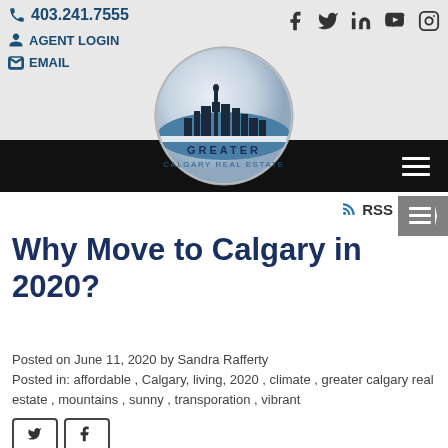403.241.7555 | AGENT LOGIN | EMAIL
[Figure (logo): Greater Calgary Real Estate circular logo with city skyline silhouette and text GREATER CALGARY REAL ESTATE]
Why Move to Calgary in 2020?
Posted on June 11, 2020 by Sandra Rafferty
Posted in: affordable , Calgary, living, 2020 , climate , greater calgary real estate , mountains , sunny , transporation , vibrant